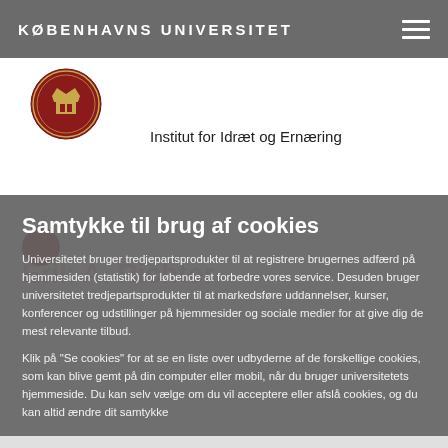KØBENHAVNS UNIVERSITET
[Figure (logo): University of Copenhagen seal/crest logo in red and gold, circular emblem]
Institut for Idræt og Ernæring
Erik A. Richter
Samtykke til brug af cookies
Universitetet bruger tredjepartsprodukter til at registrere brugernes adfærd på hjemmesiden (statistik) for løbende at forbedre vores service. Desuden bruger universitetet tredjepartsprodukter til at markedsføre uddannelser, kurser, konferencer og udstillinger på hjemmesider og sociale medier for at give dig de mest relevante tilbud.
Klik på "Se cookies" for at se en liste over udbyderne af de forskellige cookies, som kan blive gemt på din computer eller mobil, når du bruger universitetets hjemmeside. Du kan selv vælge om du vil acceptere eller afslå cookies, og du kan altid ændre dit samtykke